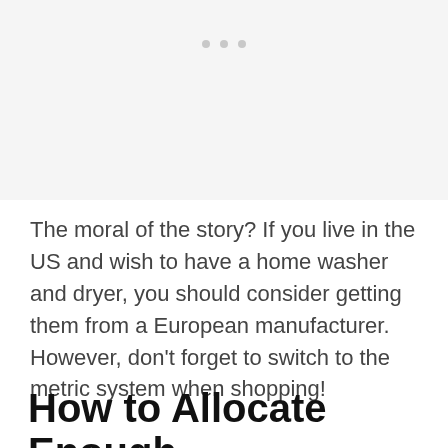[Figure (other): Light gray image placeholder area with three small gray dots near the top center]
The moral of the story? If you live in the US and wish to have a home washer and dryer, you should consider getting them from a European manufacturer. However, don't forget to switch to the metric system when shopping!
How to Allocate Enough